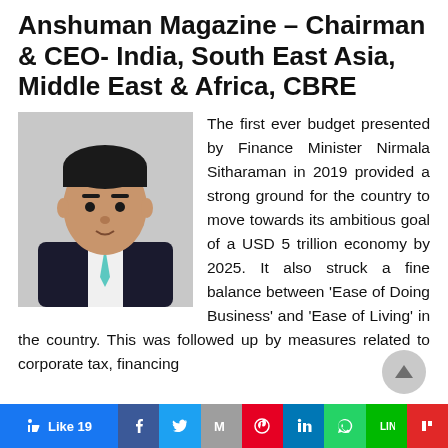Anshuman Magazine – Chairman & CEO- India, South East Asia, Middle East & Africa, CBRE
[Figure (photo): Headshot of Anshuman Magazine, a man in a dark suit with a teal tie, against a light background.]
The first ever budget presented by Finance Minister Nirmala Sitharaman in 2019 provided a strong ground for the country to move towards its ambitious goal of a USD 5 trillion economy by 2025. It also struck a fine balance between 'Ease of Doing Business' and 'Ease of Living' in the country. This was followed up by measures related to corporate tax, financing